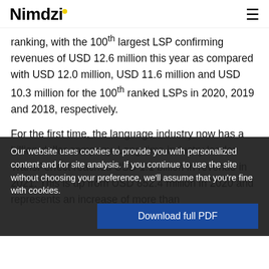Nimdzi
ranking, with the 100th largest LSP confirming revenues of USD 12.6 million this year as compared with USD 12.0 million, USD 11.6 million and USD 10.3 million for the 100th ranked LSPs in 2020, 2019 and 2018, respectively.
For the first time, the language industry now has a billion-dollar company. Long-time industry leader TransPerfect reached USD 1.1 billion in revenue in 2021. This is up from USD 852.4 million in 2020 and represents an increase of more than 30% year-over-year. Especially for a company of this size and during times that saw the world economy suffer, this is an impressive level of growth.
In last year's Nimdzi 100 we reported that RWS became the
Our website uses cookies to provide you with personalized content and for site analysis. If you continue to use the site without choosing your preference, we'll assume that you're fine with cookies.
Download full PDF